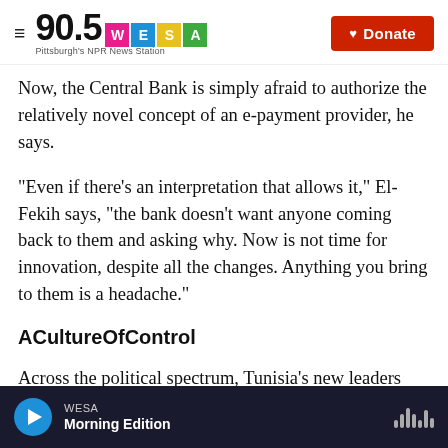90.5 WESA Pittsburgh's NPR News Station | Donate
Now, the Central Bank is simply afraid to authorize the relatively novel concept of an e-payment provider, he says.
"Even if there's an interpretation that allows it," El-Fekih says, "the bank doesn't want anyone coming back to them and asking why. Now is not time for innovation, despite all the changes. Anything you bring to them is a headache."
ACultureOfControl
Across the political spectrum, Tunisia's new leaders say technology will create jobs for the youth.
WESA Morning Edition